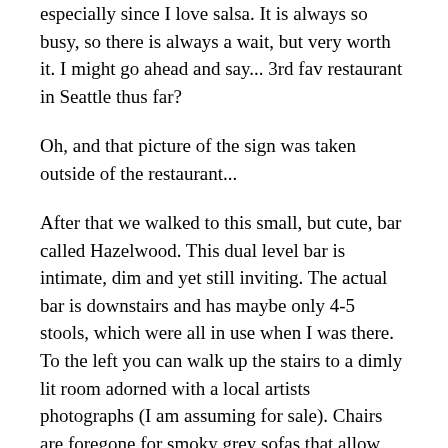especially since I love salsa. It is always so busy, so there is always a wait, but very worth it. I might go ahead and say... 3rd fav restaurant in Seattle thus far?
Oh, and that picture of the sign was taken outside of the restaurant...
After that we walked to this small, but cute, bar called Hazelwood. This dual level bar is intimate, dim and yet still inviting. The actual bar is downstairs and has maybe only 4-5 stools, which were all in use when I was there. To the left you can walk up the stairs to a dimly lit room adorned with a local artists photographs (I am assuming for sale). Chairs are foregone for smoky grey sofas that allow you to get intimate with your guests, or random strangers depending on how busy. There is also a red button upstairs that turns on a light when you look through the periscope type thing, it is just calling you to press it.